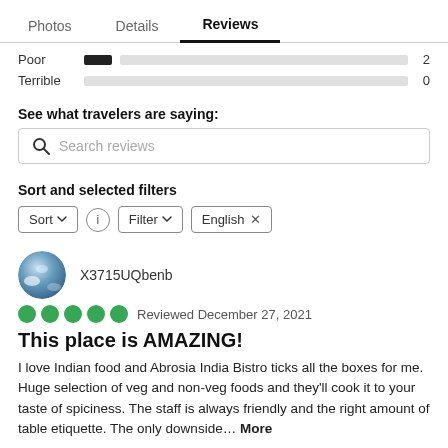Photos  Details  Reviews
Poor  2
Terrible  0
See what travelers are saying:
Search reviews
Sort and selected filters
Sort  Filter  English
X3715UQbenb
Reviewed December 27, 2021
This place is AMAZING!
I love Indian food and Abrosia India Bistro ticks all the boxes for me. Huge selection of veg and non-veg foods and they'll cook it to your taste of spiciness. The staff is always friendly and the right amount of table etiquette. The only downside… More